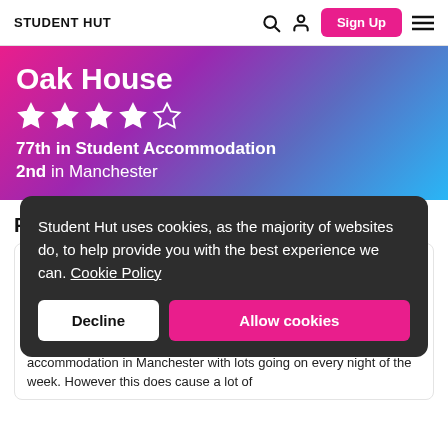STUDENT HUT
Oak House
77th in Student Accommodation
2nd in Manchester
Reviews
The accommodation is one of the cheapest options and therefore offers a benefit for a lot of students. It is also the most sociable accommodation in Manchester with lots going on every night of the week. However this does cause a lot of
Student Hut uses cookies, as the majority of websites do, to help provide you with the best experience we can. Cookie Policy